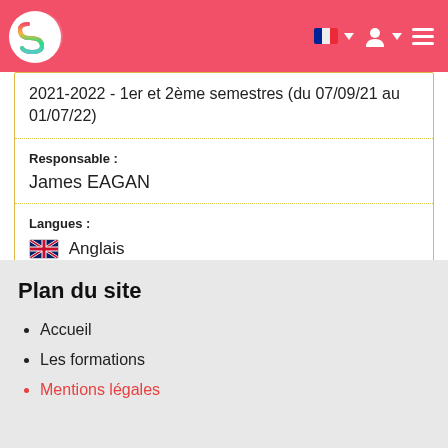Synapses — navigation header with logo, language selector, user icon, menu
2021-2022 - 1er et 2ème semestres (du 07/09/21 au 01/07/22)
Responsable :
James EAGAN
Langues :
🇬🇧 Anglais
Plan du site
Accueil
Les formations
Mentions légales